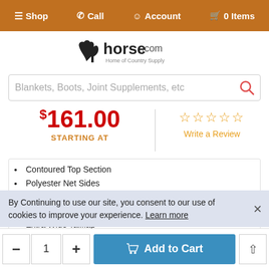Shop | Call | Account | 0 Items
[Figure (logo): horse.com - Home of Country Supply logo with horse silhouette]
Blankets, Boots, Joint Supplements, etc
$161.00 STARTING AT
☆☆☆☆☆ Write a Review
Contoured Top Section
Polyester Net Sides
Thermobonded Fibrefill
Shine Enhancing Lining on Shoulder and Tail Flap
Extra Wide Tailflap
Leather Straight Front Closure
Dual Leg Arches
Three Cross Surcingles
By Continuing to use our site, you consent to our use of cookies to improve your experience. Learn more
- 1 + Add to Cart